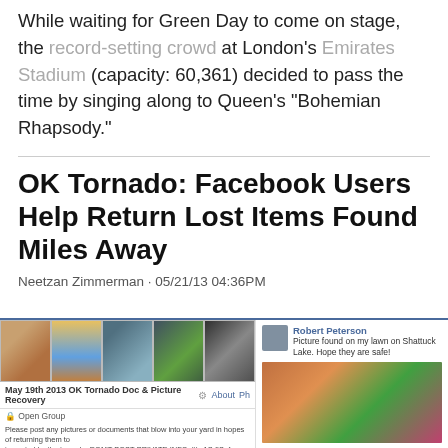While waiting for Green Day to come on stage, the record-setting crowd at London's Emirates Stadium (capacity: 60,361) decided to pass the time by singing along to Queen's "Bohemian Rhapsody."
OK Tornado: Facebook Users Help Return Lost Items Found Miles Away
Neetzan Zimmerman · 05/21/13 04:36PM
[Figure (screenshot): Screenshot of a Facebook group page 'May 19th 2013 OK Tornado Doc & Picture Recovery' showing an Open Group with description about posting pictures or documents that blew into your yard. Next to it is a Facebook post by Robert Peterson saying 'Picture found on my lawn on Shattuck Lake. Hope they are safe!' with a photo of a child.]